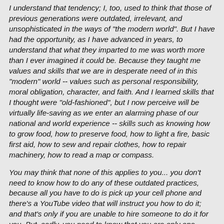I understand that tendency; I, too, used to think that those of previous generations were outdated, irrelevant, and unsophisticated in the ways of "the modern world". But I have had the opportunity, as I have advanced in years, to understand that what they imparted to me was worth more than I ever imagined it could be. Because they taught me values and skills that we are in desperate need of in this "modern" world -- values such as personal responsibility, moral obligation, character, and faith. And I learned skills that I thought were "old-fashioned", but I now perceive will be virtually life-saving as we enter an alarming phase of our national and world experience -- skills such as knowing how to grow food, how to preserve food, how to light a fire, basic first aid, how to sew and repair clothes, how to repair machinery, how to read a map or compass.
You may think that none of this applies to you... you don't need to know how to do any of these outdated practices, because all you have to do is pick up your cell phone and there's a YouTube video that will instruct you how to do it; and that's only if you are unable to hire someone to do it for you. But, sadly, you need to know that you are only one